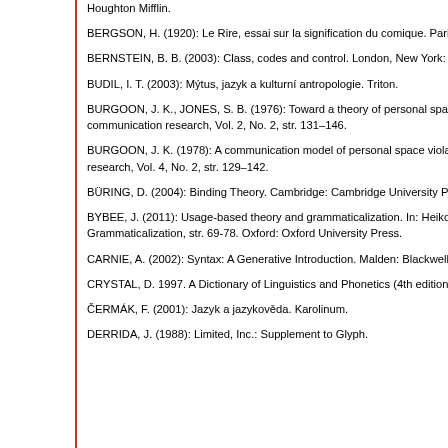Houghton Mifflin.
BERGSON, H. (1920): Le Rire, essai sur la signification du comique. Paris: Alcan.
BERNSTEIN, B. B. (2003): Class, codes and control. London, New York: Routledge.
BUDIL, I. T. (2003): Mýtus, jazyk a kulturní antropologie. Triton.
BURGOON, J. K., JONES, S. B. (1976): Toward a theory of personal space expectations and their violations. In: Human communication research, Vol. 2, No. 2, str. 131–146.
BURGOON, J. K. (1978): A communication model of personal space violation: Explication and an initial test. In: Human communication research, Vol. 4, No. 2, str. 129–142.
BÜRING, D. (2004): Binding Theory. Cambridge: Cambridge University Press.
BYBEE, J. (2011): Usage-based theory and grammaticalization. In: Heiko Narrog and Bernd Heine (eds.) The Oxford Handbook of Grammaticalization, str. 69-78. Oxford: Oxford University Press.
CARNIE, A. (2002): Syntax: A Generative Introduction. Malden: Blackwell.
CRYSTAL, D. 1997. A Dictionary of Linguistics and Phonetics (4th edition). Cambridge, MA: Blackwell Publishers.
ČERMÁK, F. (2001): Jazyk a jazykověda. Karolinum.
DERRIDA, J. (1988): Limited, Inc.: Supplement to Glyph.